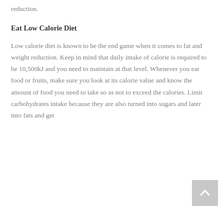reduction.
Eat Low Calorie Diet
Low calorie diet is known to be the end game when it comes to fat and weight reduction. Keep in mind that daily intake of calorie is required to be 10,500kJ and you need to maintain at that level. Whenever you eat food or fruits, make sure you look at its calorie value and know the amount of food you need to take so as not to exceed the calories. Limit carbohydrates intake because they are also turned into sugars and later into fats and get